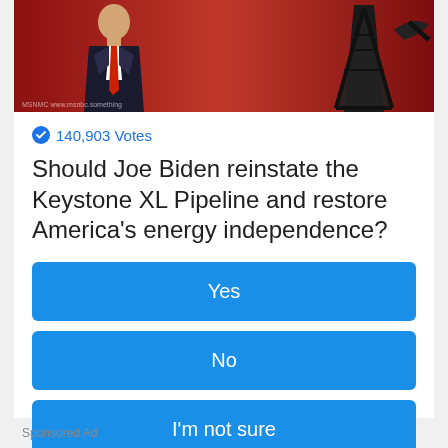[Figure (photo): TV screenshot showing a man in a suit with red tie against a red background, with a dark silhouette of an oil derrick on the right side. Watermark text at bottom left.]
140,903 Votes
Should Joe Biden reinstate the Keystone XL Pipeline and restore America's energy independence?
Yes
No
I'm not sure
Sponsored Ad